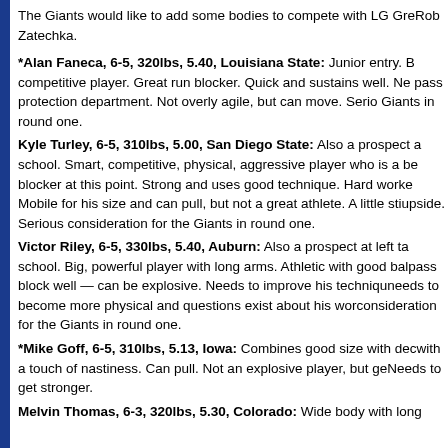The Giants would like to add some bodies to compete with LG Greg Comella and Rob Zatechka.
*Alan Faneca, 6-5, 320lbs, 5.40, Louisiana State: Junior entry. B... competitive player. Great run blocker. Quick and sustains well. Ne... pass protection department. Not overly agile, but can move. Serio... Giants in round one.
Kyle Turley, 6-5, 310lbs, 5.00, San Diego State: Also a prospect a... school. Smart, competitive, physical, aggressive player who is a be... blocker at this point. Strong and uses good technique. Hard worke... Mobile for his size and can pull, but not a great athlete. A little sti... upside. Serious consideration for the Giants in round one.
Victor Riley, 6-5, 330lbs, 5.40, Auburn: Also a prospect at left ta... school. Big, powerful player with long arms. Athletic with good bal... pass block well — can be explosive. Needs to improve his techniqu... needs to become more physical and questions exist about his wor... consideration for the Giants in round one.
*Mike Goff, 6-5, 310lbs, 5.13, Iowa: Combines good size with dec... with a touch of nastiness. Can pull. Not an explosive player, but ge... Needs to get stronger.
Melvin Thomas, 6-3, 320lbs, 5.30, Colorado: Wide body with long...